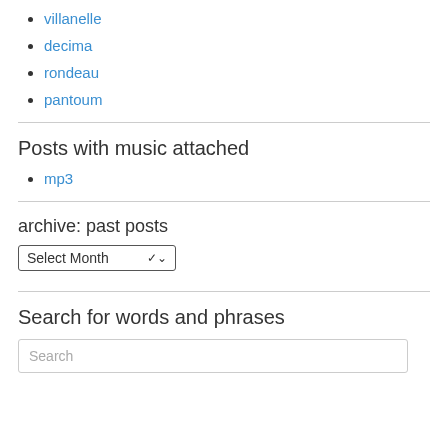villanelle
decima
rondeau
pantoum
Posts with music attached
mp3
archive: past posts
Select Month
Search for words and phrases
Search